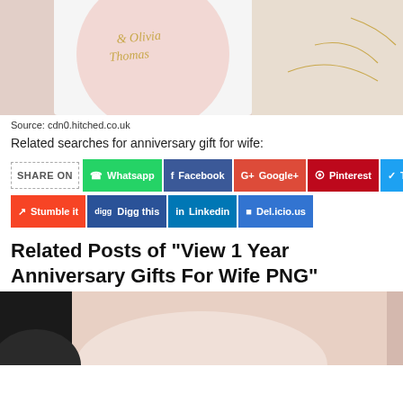[Figure (photo): Photo of a personalized gift box with 'Olivia Thomas' written in gold script on a pink circle, with a gold chain necklace beside it on a beige background.]
Source: cdn0.hitched.co.uk
Related searches for anniversary gift for wife:
SHARE ON  Whatsapp  Facebook  Google+  Pinterest  Twitter  Stumble it  Digg this  Linkedin  Del.icio.us
Related Posts of "View 1 Year Anniversary Gifts For Wife PNG"
[Figure (photo): A woman's neck/shoulder area with skin tones visible, partial black hair, possibly wearing or near a necklace.]